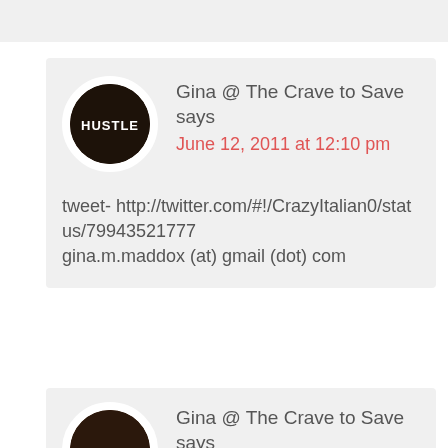[Figure (screenshot): Top grey bar at the top of the page]
Gina @ The Crave to Save says
June 12, 2011 at 12:10 pm

tweet- http://twitter.com/#!/CrazyItalian0/status/79943521777
gina.m.maddox (at) gmail (dot) com
Gina @ The Crave to Save says